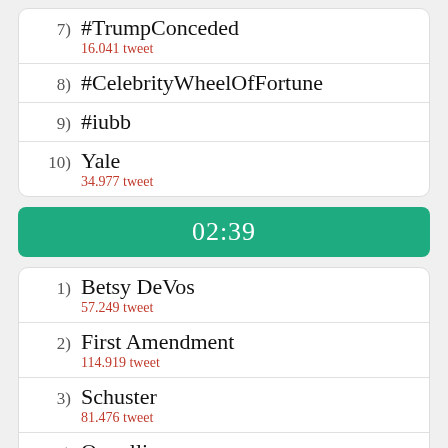7) #TrumpConceded
16.041 tweet
8) #CelebrityWheelOfFortune
9) #iubb
10) Yale
34.977 tweet
02:39
1) Betsy DeVos
57.249 tweet
2) First Amendment
114.919 tweet
3) Schuster
81.476 tweet
4) Orwellian
29.234 tweet